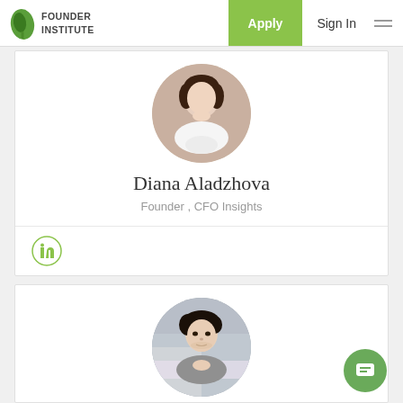Founder Institute — Apply | Sign In
[Figure (photo): Circular profile photo of Diana Aladzhova, a woman in white dress]
Diana Aladzhova
Founder , CFO Insights
[Figure (logo): LinkedIn icon in a green circle]
[Figure (photo): Circular profile photo of a man with dark hair, second profile card]